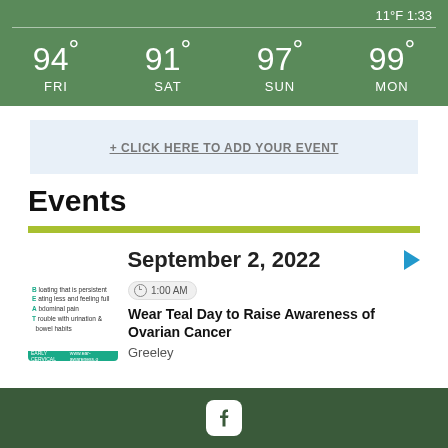[Figure (infographic): Weather forecast bar showing temperatures for FRI 94°, SAT 91°, SUN 97°, MON 99° on green background]
+ CLICK HERE TO ADD YOUR EVENT
Events
September 2, 2022
[Figure (infographic): Ovarian cancer BEAT awareness thumbnail with teal background]
1:00 AM
Wear Teal Day to Raise Awareness of Ovarian Cancer
Greeley
Facebook icon in dark green footer bar